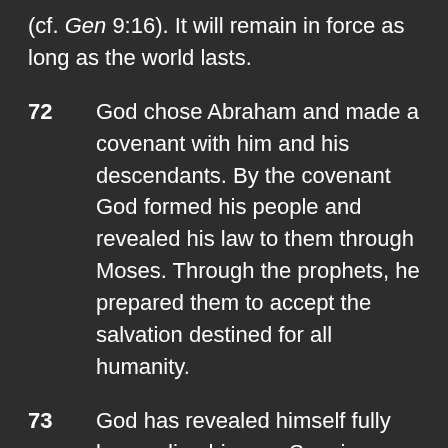(cf. Gen 9:16). It will remain in force as long as the world lasts.
72   God chose Abraham and made a covenant with him and his descendants. By the covenant God formed his people and revealed his law to them through Moses. Through the prophets, he prepared them to accept the salvation destined for all humanity.
73   God has revealed himself fully by sending his own Son, in whom he has established his covenant for ever. The Son is his Father's definitive Word; so there will be no further Revelation after him